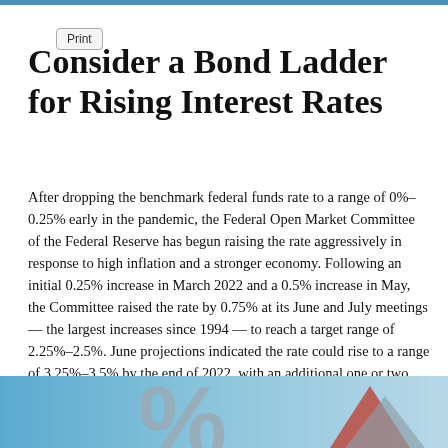Print
Consider a Bond Ladder for Rising Interest Rates
After dropping the benchmark federal funds rate to a range of 0%–0.25% early in the pandemic, the Federal Open Market Committee of the Federal Reserve has begun raising the rate aggressively in response to high inflation and a stronger economy. Following an initial 0.25% increase in March 2022 and a 0.5% increase in May, the Committee raised the rate by 0.75% at its June and July meetings — the largest increases since 1994 — to reach a target range of 2.25%–2.5%. June projections indicated the rate could rise to a range of 3.25%–3.5% by the end of 2022, with an additional one or two 0.25-percentage-point increases in 2023.¹
[Figure (illustration): Decorative image with blue/grey background showing partial percent sign and arrow shapes, suggesting financial/interest rate theme]